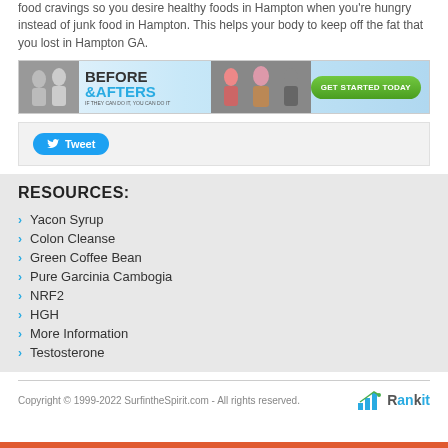food cravings so you desire healthy foods in Hampton when you're hungry instead of junk food in Hampton. This helps your body to keep off the fat that you lost in Hampton GA.
[Figure (infographic): Banner advertisement with before and after weight loss photos, 'BEFORE & AFTERS' text, and a green 'GET STARTED TODAY' button]
[Figure (screenshot): Twitter Tweet button]
RESOURCES:
Yacon Syrup
Colon Cleanse
Green Coffee Bean
Pure Garcinia Cambogia
NRF2
HGH
More Information
Testosterone
Copyright © 1999-2022 SurfintheSpirit.com - All rights reserved.